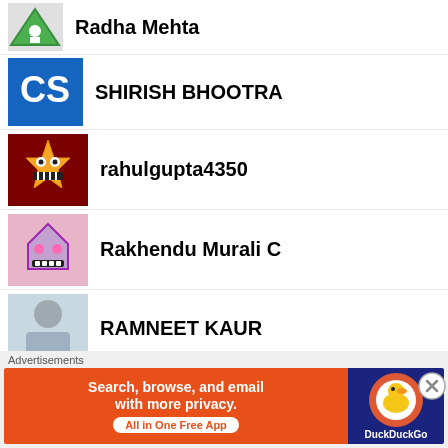Radha Mehta
SHIRISH BHOOTRA
rahulgupta4350
Rakhendu Murali C
RAMNEET KAUR
Diksha Rani
Rashi jain
Raunak Aggarwal
Advertisements Search, browse, and email with more privacy. All in One Free App DuckDuckGo